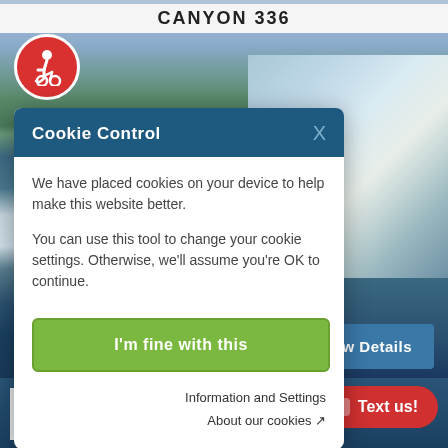CANYON 336
[Figure (photo): Background photo of a boat on water with cloudy sky and trees in background. People visible on the boat.]
[Figure (logo): Red circular accessibility icon with wheelchair user symbol in white]
Cookie Control
We have placed cookies on your device to help make this website better.
You can use this tool to change your cookie settings. Otherwise, we'll assume you're OK to continue.
I'm fine with this
Information and Settings
About our cookies
View Details
C
Text us!